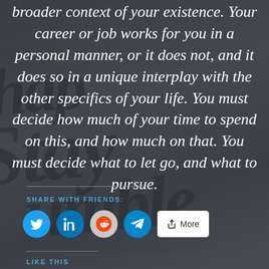broader context of your existence. Your career or job works for you in a personal manner, or it does not, and it does so in a unique interplay with the other specifics of your life. You must decide how much of your time to spend on this, and how much on that. You must decide what to let go, and what to pursue.
SHARE WITH FRIENDS:
[Figure (infographic): Social share buttons: Twitter (blue circle), LinkedIn (blue circle), Reddit (grey circle), Telegram (blue circle), and a More button with share icon]
LIKE THIS